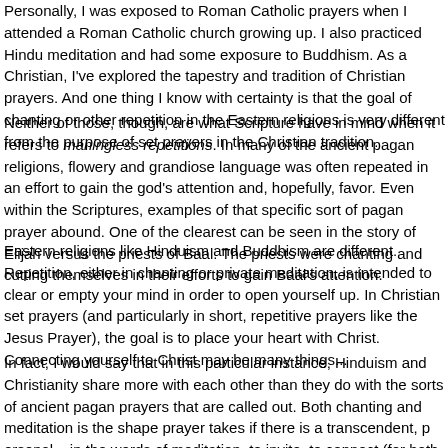Personally, I was exposed to Roman Catholic prayers when I attended a Roman Catholic church growing up. I also practiced Hindu meditation and had some exposure to Buddhism. As a Christian, I've explored the tapestry and tradition of Christian prayers. And one thing I know with certainty is that the goal of chanting or other repetition in the Eastern religions is very different from the purpose of set prayers in the Christian tradition.
Neither of those, though, are what Scripture have in mind when it refers to meaningless repetitions. In many of the ancient pagan religions, flowery and grandiose language was often repeated in an effort to gain the god's attention and, hopefully, favor. Even within the Scriptures, examples of that specific sort of pagan prayer abound. One of the clearest can be seen in the story of Elijah versus the priests of Baal. The priests were chanting and cutting themselves in their efforts to gain Baal's attention.
Eastern religions like Hinduism and Buddhism are different. Repetition, either in chanting or private meditation, is intended to clear or empty your mind in order to open yourself up. In Christian set prayers (and particularly in short, repetitive prayers like the Jesus Prayer), the goal is to place your heart with Christ. Connecting yourself to Christ may be many things...
In fact, I would say that in this particular instance, Hinduism and Christianity share more with each other than they do with the sorts of ancient pagan prayers that are called out. Both chanting and meditation is the shape prayer takes if there is a transcendent, personal... in the words of meditation, to invite, to connect (for both, at any rate). What...